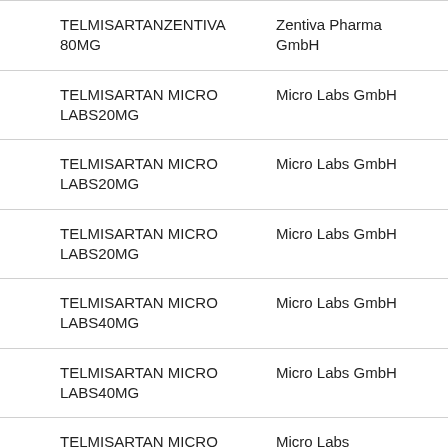| TELMISARTANZENTIVA 80MG | Zentiva Pharma GmbH | 10353550 |
| TELMISARTAN MICRO LABS20MG | Micro Labs GmbH | 13881309 |
| TELMISARTAN MICRO LABS20MG | Micro Labs GmbH | 13881315 |
| TELMISARTAN MICRO LABS20MG | Micro Labs GmbH | 13881321 |
| TELMISARTAN MICRO LABS40MG | Micro Labs GmbH | 13881338 |
| TELMISARTAN MICRO LABS40MG | Micro Labs GmbH | 13881350 |
| TELMISARTAN MICRO | Micro Labs | 13881367 |